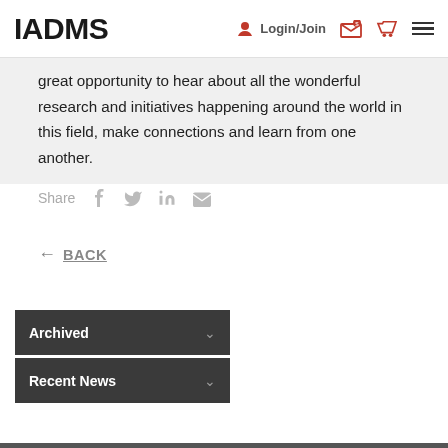IADMS  Login/Join
great opportunity to hear about all the wonderful research and initiatives happening around the world in this field, make connections and learn from one another.
Share
← BACK
Archived
Recent News